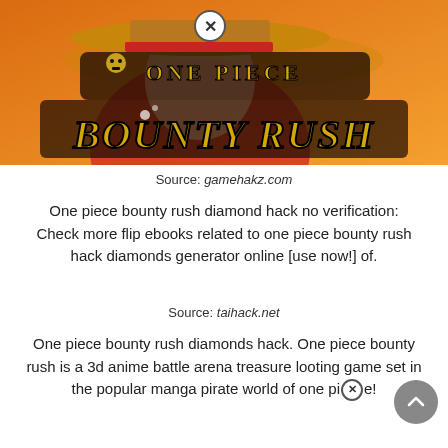[Figure (illustration): One Piece Bounty Rush game promotional banner showing the title logo 'ONE PIECE BOUNTY RUSH' with a character wearing a straw hat on an orange background. A close button (X in circle) appears at the top center.]
Source: gamehakz.com
One piece bounty rush diamond hack no verification: Check more flip ebooks related to one piece bounty rush hack diamonds generator online [use now!] of.
Source: taihack.net
One piece bounty rush diamonds hack. One piece bounty rush is a 3d anime battle arena treasure looting game set in the popular manga pirate world of one piece!